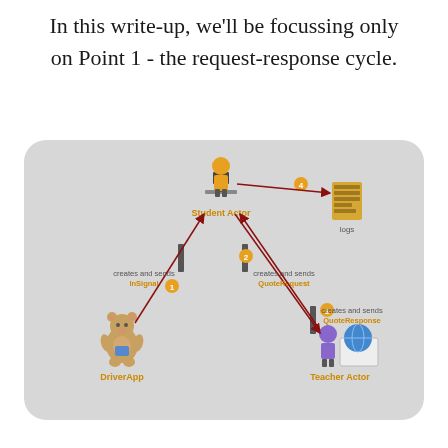In this write-up, we'll be focussing only on Point 1 - the request-response cycle.
[Figure (flowchart): Diagram showing request-response cycle with Student Actor (at computer), DriverApp (teddy bear), Teacher Actor (with globe), and a logs/book resource. Four numbered steps: (1) DriverApp creates and sends InSignal to Student Actor, (2) Student Actor creates and sends QuoteRequest to Teacher Actor, (3) Teacher Actor creates and sends QuoteResponse back to Student Actor, (4) Student Actor sends logs to the book resource. Arrows connect the actors in a cycle on a rounded grey background.]